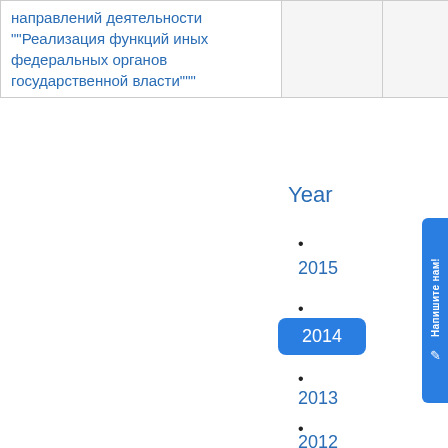|  |  |  |
| --- | --- | --- |
| направлений деятельности ""Реализация функций иных федеральных органов государственной власти""" |  |  |
Year
• 2015
• 2014
• 2013
• 2012